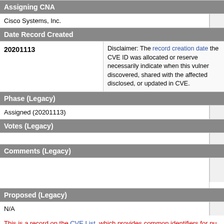Assigning CNA
| Cisco Systems, Inc. |  |
Date Record Created
| 20201113 | Disclaimer: The record creation date the CVE ID was allocated or reserved, necessarily indicate when this vulnerability was discovered, shared with the affected vendor, publicly disclosed, or updated in CVE. |
Phase (Legacy)
| Assigned (20201113) |  |
Votes (Legacy)
|  |  |
Comments (Legacy)
|  |  |
Proposed (Legacy)
| N/A |  |
This is a record on the CVE List, which provides common identifiers for pu cybersecurity vulnerabilities.
SEARCH CVE USING KEYWORDS:
You can also search by reference using the CVE Reference Maps.